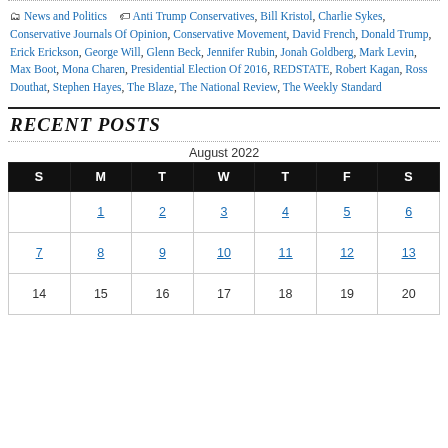📂 News and Politics   🏷 Anti Trump Conservatives, Bill Kristol, Charlie Sykes, Conservative Journals Of Opinion, Conservative Movement, David French, Donald Trump, Erick Erickson, George Will, Glenn Beck, Jennifer Rubin, Jonah Goldberg, Mark Levin, Max Boot, Mona Charen, Presidential Election Of 2016, REDSTATE, Robert Kagan, Ross Douthat, Stephen Hayes, The Blaze, The National Review, The Weekly Standard
RECENT POSTS
| S | M | T | W | T | F | S |
| --- | --- | --- | --- | --- | --- | --- |
|  | 1 | 2 | 3 | 4 | 5 | 6 |
| 7 | 8 | 9 | 10 | 11 | 12 | 13 |
| 14 | 15 | 16 | 17 | 18 | 19 | 20 |